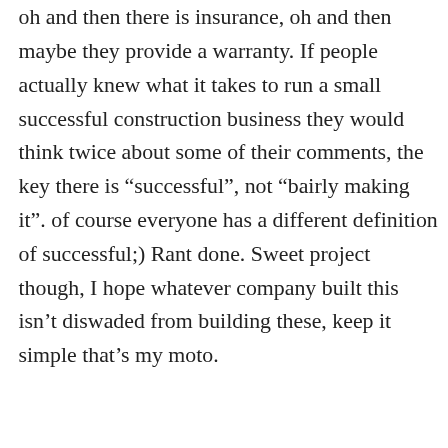oh and then there is insurance, oh and then maybe they provide a warranty. If people actually knew what it takes to run a small successful construction business they would think twice about some of their comments, the key there is “successful”, not “bairly making it”. of course everyone has a different definition of successful;) Rant done. Sweet project though, I hope whatever company built this isn’t diswaded from building these, keep it simple that’s my moto.
REPLY   LINK
Marsha Cavan
[Figure (other): Advertisement banner for Leesburg store showing OPEN 10AM-9PM, 241 Fort Evans Rd NE, Leesburg]